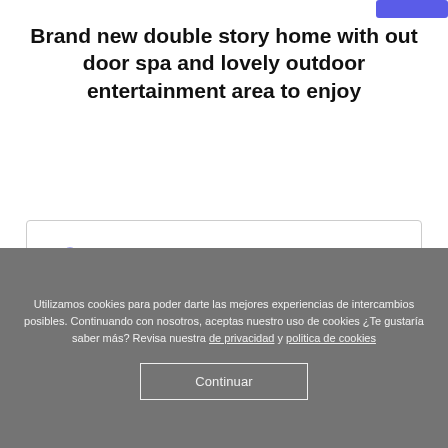Brand new double story home with out door spa and lovely outdoor entertainment area to enjoy
| [user icon] Debbie |  |
| Registrado
sep 2007 | Último acceso
Más de un mes |
Utilizamos cookies para poder darte las mejores experiencias de intercambios posibles. Continuando con nosotros, aceptas nuestro uso de cookies ¿Te gustaría saber más? Revisa nuestra de privacidad y politica de cookies
Continuar